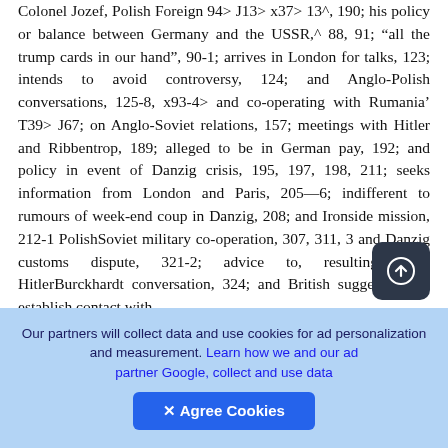Colonel Jozef, Polish Foreign 94> J13> x37> 13^, 190; his policy or balance between Germany and the USSR,^ 88, 91; "all the trump cards in our hand", 90-1; arrives in London for talks, 123; intends to avoid controversy, 124; and Anglo-Polish conversations, 125-8, x93-4> and co-operating with Rumania' T39> J67; on Anglo-Soviet relations, 157; meetings with Hitler and Ribbentrop, 189; alleged to be in German pay, 192; and policy in event of Danzig crisis, 195, 197, 198, 211; seeks information from London and Paris, 205—6; indifferent to rumours of week-end coup in Danzig, 208; and Ironside mission, 212-1 PolishSoviet military co-operation, 307, 311, 3 and Danzig customs dispute, 321-2; advice to, resulting from HitlerBurckhardt conversation, 324; and British suggestions to establish contact with
Our partners will collect data and use cookies for ad personalization and measurement. Learn how we and our ad partner Google, collect and use data